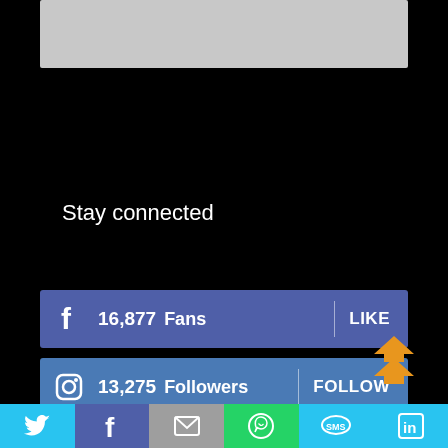[Figure (screenshot): Grey placeholder image area at top]
Stay connected
16,877 Fans LIKE (Facebook bar)
13,275 Followers FOLLOW (Instagram bar)
1,647 Followers FOLLOW (Twitter bar)
[Figure (infographic): Orange up arrow icon]
[Figure (infographic): Bottom toolbar with Twitter, Facebook, Email, WhatsApp, SMS, LinkedIn icons]